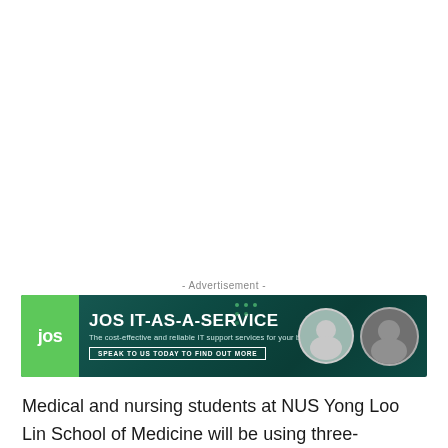[Figure (other): JOS IT-AS-A-SERVICE advertisement banner with green logo, dark teal background, circular photo thumbnails, and call-to-action button reading SPEAK TO US TODAY TO FIND OUT MORE]
Medical and nursing students at NUS Yong Loo Lin School of Medicine will be using three-dimensional holographic technology from Microsoft starting in April 2022, to help